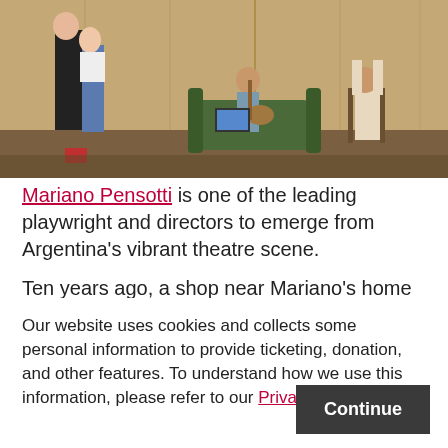[Figure (photo): Theater scene with wooden wall backdrop. On the left, a couple stands closely together. In the center, a young man sits on a green sofa playing guitar with a laptop nearby. On the right, another person sits on a chair with their back to the camera and head in hands.]
Mariano Pensotti is one of the leading playwright and directors to emerge from Argentina's vibrant theatre scene.
Ten years ago, a shop near Mariano's home was discarding
Our website uses cookies and collects some personal information to provide ticketing, donation, and other features. To understand how we use this information, please refer to our Privacy Policy